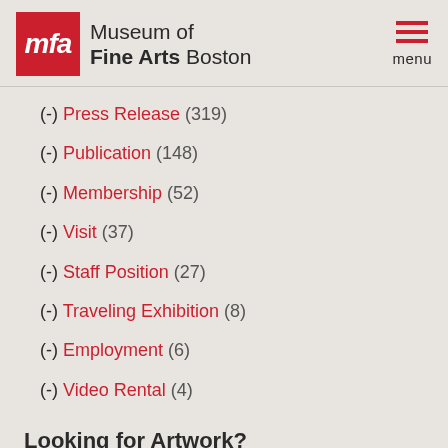Museum of Fine Arts Boston
(-) Press Release (319)
(-) Publication (148)
(-) Membership (52)
(-) Visit (37)
(-) Staff Position (27)
(-) Traveling Exhibition (8)
(-) Employment (6)
(-) Video Rental (4)
Looking for Artwork?
Please use our Collections Search to complete or